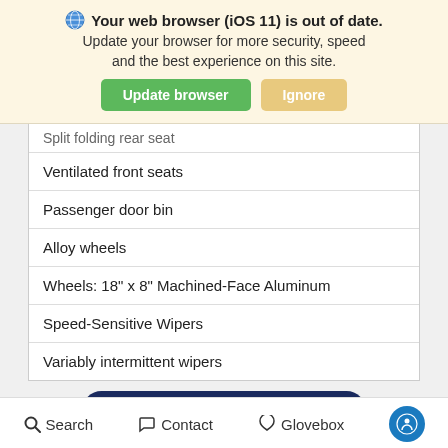[Figure (screenshot): Browser update notification banner with globe icon, bold text 'Your web browser (iOS 11) is out of date.', subtext 'Update your browser for more security, speed and the best experience on this site.', green 'Update browser' button and tan 'Ignore' button]
| Split folding rear seat |
| Ventilated front seats |
| Passenger door bin |
| Alloy wheels |
| Wheels: 18" x 8" Machined-Face Aluminum |
| Speed-Sensitive Wipers |
| Variably intermittent wipers |
TEXT MY TRADE-IN VALUE!
Search   Contact   Glovebox